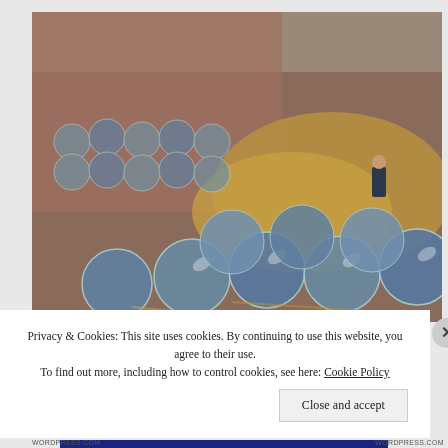[Figure (photo): Photograph of a man in a suit standing among large quantities of round glass floats/balls resting on straw/hay inside what appears to be a warehouse or storage facility with brick walls. The glass spheres are blue-grey in color and piled in rows.]
Privacy & Cookies: This site uses cookies. By continuing to use this website, you agree to their use.
To find out more, including how to control cookies, see here: Cookie Policy
Close and accept